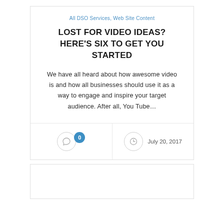All DSO Services, Web Site Content
LOST FOR VIDEO IDEAS? HERE'S SIX TO GET YOU STARTED
We have all heard about how awesome video is and how all businesses should use it as a way to engage and inspire your target audience. After all, You Tube...
0
July 20, 2017